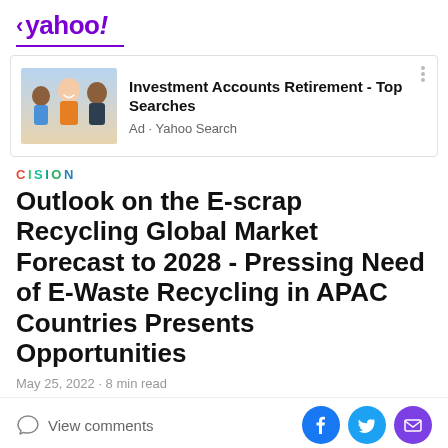< yahoo!
[Figure (infographic): Advertisement banner showing a family photo with text 'Investment Accounts Retirement - Top Searches', Ad · Yahoo Search]
CISION
Outlook on the E-scrap Recycling Global Market Forecast to 2028 - Pressing Need of E-Waste Recycling in APAC Countries Presents Opportunities
May 25, 2022 · 8 min read
View comments